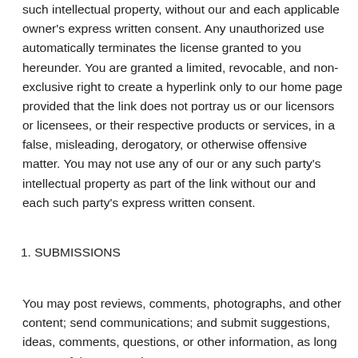such intellectual property, without our and each applicable owner's express written consent. Any unauthorized use automatically terminates the license granted to you hereunder. You are granted a limited, revocable, and non-exclusive right to create a hyperlink only to our home page provided that the link does not portray us or our licensors or licensees, or their respective products or services, in a false, misleading, derogatory, or otherwise offensive matter. You may not use any of our or any such party's intellectual property as part of the link without our and each such party's express written consent.
1. SUBMISSIONS
You may post reviews, comments, photographs, and other content; send communications; and submit suggestions, ideas, comments, questions, or other information, as long as any of the content is...